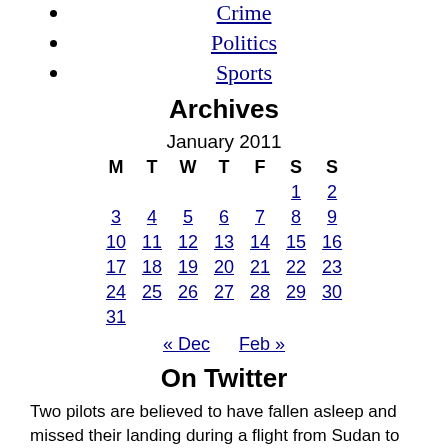Crime
Politics
Sports
Archives
| M | T | W | T | F | S | S |
| --- | --- | --- | --- | --- | --- | --- |
|  |  |  |  |  | 1 | 2 |
| 3 | 4 | 5 | 6 | 7 | 8 | 9 |
| 10 | 11 | 12 | 13 | 14 | 15 | 16 |
| 17 | 18 | 19 | 20 | 21 | 22 | 23 |
| 24 | 25 | 26 | 27 | 28 | 29 | 30 |
| 31 |  |  |  |  |  |  |
« Dec   Feb »
On Twitter
Two pilots are believed to have fallen asleep and missed their landing during a flight from Sudan to Ethiopia. cnn.it/3PIgae5
[Figure (logo): CNN International logo - red circle with CNN text]
cnni
9:48 am ET August 20, 2022 RETWEET